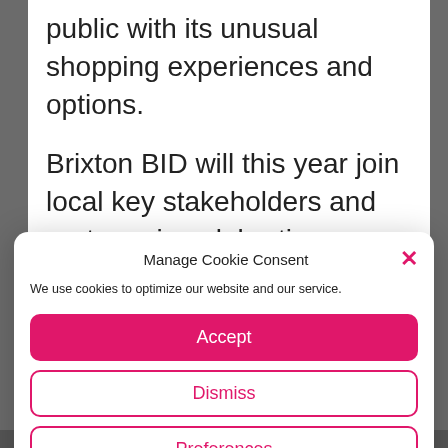public with its unusual shopping experiences and options.
Brixton BID will this year join local key stakeholders and partners in celebrating European Launch of Love Your Local Market 2017:
Manage Cookie Consent
We use cookies to optimize our website and our service.
Accept
Dismiss
Preferences